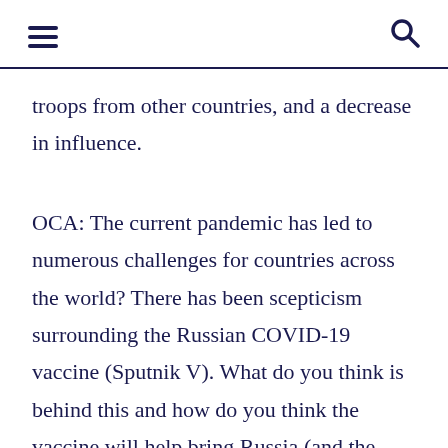≡  🔍
troops from other countries, and a decrease in influence.
OCA: The current pandemic has led to numerous challenges for countries across the world? There has been scepticism surrounding the Russian COVID-19 vaccine (Sputnik V). What do you think is behind this and how do you think the vaccine will help bring Russia (and the world) out of the